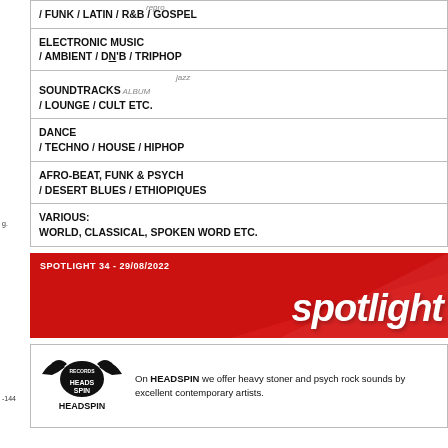/ FUNK / LATIN / R&B / GOSPEL
ELECTRONIC MUSIC / AMBIENT / DNB / TRIPHOP
SOUNDTRACKS / LOUNGE / CULT ETC.
DANCE / TECHNO / HOUSE / HIPHOP
AFRO-BEAT, FUNK & PSYCH / DESERT BLUES / ETHIOPIQUES
VARIOUS: WORLD, CLASSICAL, SPOKEN WORD ETC.
[Figure (illustration): Spotlight 34 - 29/08/2022 red banner with 'spotlight' text in white italic]
[Figure (logo): Headspin Records logo with text: On HEADSPIN we offer heavy stoner and psych rock sounds by excellent contemporary artists.]